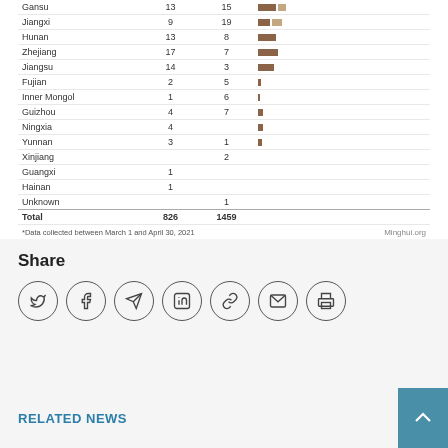| Province | Col1 | Col2 | Bar |
| --- | --- | --- | --- |
| Gansu | 13 | 15 |  |
| Jiangxi | 9 | 19 |  |
| Hunan | 13 | 8 |  |
| Zhejiang | 17 | 7 |  |
| Jiangsu | 14 | 3 |  |
| Fujian | 2 | 5 |  |
| Inner Mongol | 1 | 6 |  |
| Guizhou | 4 | 7 |  |
| Ningxia | 4 |  |  |
| Yunnan | 3 | 1 |  |
| Xinjiang |  | 2 |  |
| Guangxi | 1 |  |  |
| Hainan | 1 |  |  |
| Unknown |  | 1 |  |
| Total | 826 | 1459 |  |
*Data collected between March 1 and April 30, 2021
Minghui.org
Share
[Figure (infographic): Share icons: Twitter, Facebook, Telegram, LinkedIn, Link, Email, Print — each in a circle]
RELATED NEWS